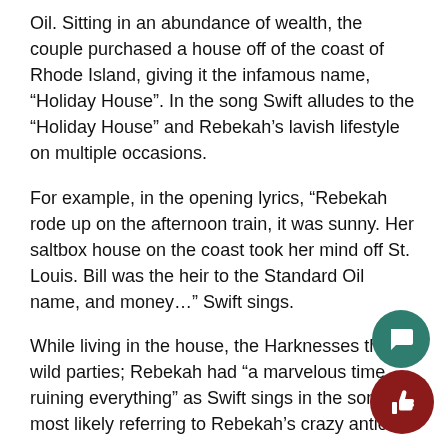Oil. Sitting in an abundance of wealth, the couple purchased a house off of the coast of Rhode Island, giving it the infamous name, “Holiday House”. In the song Swift alludes to the “Holiday House” and Rebekah’s lavish lifestyle on multiple occasions.
For example, in the opening lyrics, “Rebekah rode up on the afternoon train, it was sunny. Her saltbox house on the coast took her mind off St. Louis. Bill was the heir to the Standard Oil name, and money…” Swift sings.
While living in the house, the Harknesses threw wild parties; Rebekah had “a marvelous time ruining everything” as Swift sings in the song, most likely referring to Rebekah’s crazy antics.
To close the song, Swift reveals the true purpose of the song, sharing that the Holiday House is now her own, she has some big shoes to fill as the new owner. “Fifty...